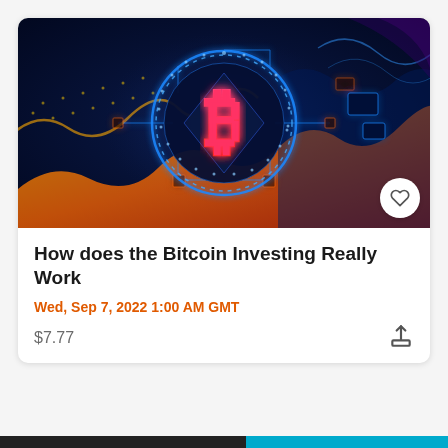[Figure (photo): Bitcoin cryptocurrency digital artwork showing a glowing blue Bitcoin symbol/logo on a dark blue background with orange/yellow wave patterns and circuit board elements]
How does the Bitcoin Investing Really Work
Wed, Sep 7, 2022 1:00 AM GMT
$7.77